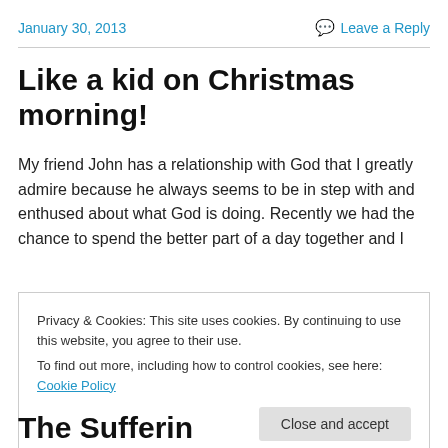January 30, 2013   Leave a Reply
Like a kid on Christmas morning!
My friend John has a relationship with God that I greatly admire because he always seems to be in step with and enthused about what God is doing. Recently we had the chance to spend the better part of a day together and I
Privacy & Cookies: This site uses cookies. By continuing to use this website, you agree to their use.
To find out more, including how to control cookies, see here: Cookie Policy
Close and accept
The Suffering Person...